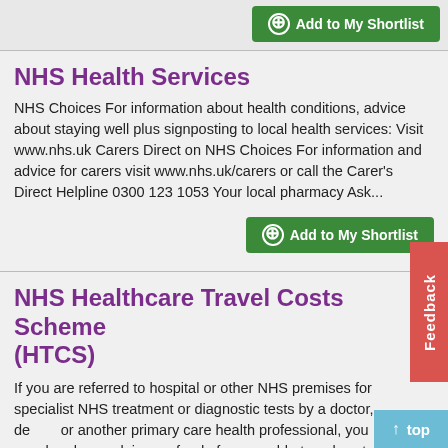+ Add to My Shortlist
NHS Health Services
NHS Choices For information about health conditions, advice about staying well plus signposting to local health services: Visit www.nhs.uk Carers Direct on NHS Choices For information and advice for carers visit www.nhs.uk/carers or call the Carer's Direct Helpline 0300 123 1053 Your local pharmacy Ask...
+ Add to My Shortlist
NHS Healthcare Travel Costs Scheme (HTCS)
If you are referred to hospital or other NHS premises for specialist NHS treatment or diagnostic tests by a doctor, dentist or another primary care health professional, you may be able to claim a refund of reasonable travel costs under the Healthcare Travel Costs Scheme...
+ Add to My Shortlist
Feedback
↑ top